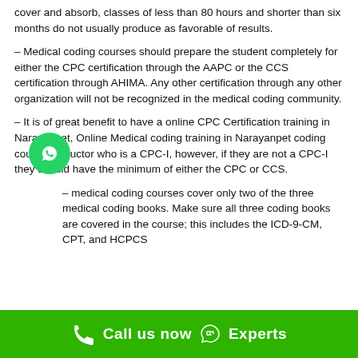cover and absorb, classes of less than 80 hours and shorter than six months do not usually produce as favorable of results.
– Medical coding courses should prepare the student completely for either the CPC certification through the AAPC or the CCS certification through AHIMA. Any other certification through any other organization will not be recognized in the medical coding community.
– It is of great benefit to have a online CPC Certification training in Narayanpet, Online Medical coding training in Narayanpet coding course instructor who is a CPC-I, however, if they are not a CPC-I they should have the minimum of either the CPC or CCS.
– medical coding courses cover only two of the three medical coding books. Make sure all three coding books are covered in the course; this includes the ICD-9-CM, CPT, and HCPCS
Call us now  Experts